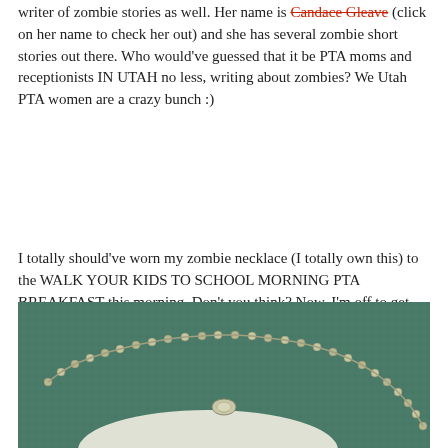writer of zombie stories as well. Her name is Candace Gleave (click on her name to check her out) and she has several zombie short stories out there. Who would've guessed that it be PTA moms and receptionists IN UTAH no less, writing about zombies? We Utah PTA women are a crazy bunch :)
I totally should've worn my zombie necklace (I totally own this) to the WALK YOUR KIDS TO SCHOOL MORNING PTA BREAKFAST this morning. Don't you think? Now, I'm off to get me a pair of zombie shoes. A must have for any good Utah Mom PTA zombie writer.
[Figure (photo): Close-up photo of a silver ball chain necklace with a small pendant, lying on a green/teal fabric background.]